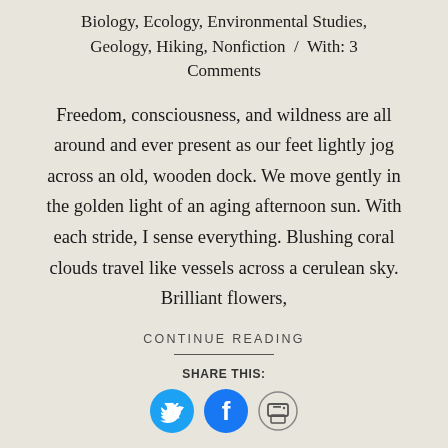Biology, Ecology, Environmental Studies, Geology, Hiking, Nonfiction  /  With: 3 Comments
Freedom, consciousness, and wildness are all around and ever present as our feet lightly jog across an old, wooden dock. We move gently in the golden light of an aging afternoon sun. With each stride, I sense everything. Blushing coral clouds travel like vessels across a cerulean sky. Brilliant flowers,
CONTINUE READING
SHARE THIS:
[Figure (infographic): Social share icons: Twitter (blue bird), Facebook (blue f), and printer icon]